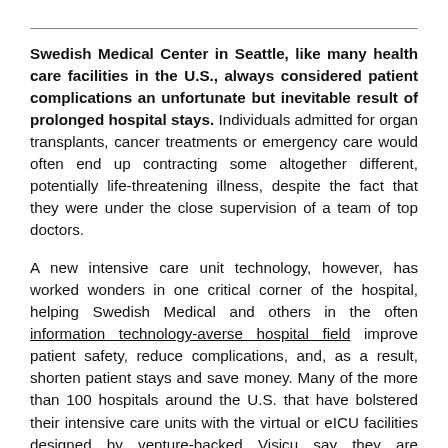Swedish Medical Center in Seattle, like many health care facilities in the U.S., always considered patient complications an unfortunate but inevitable result of prolonged hospital stays. Individuals admitted for organ transplants, cancer treatments or emergency care would often end up contracting some altogether different, potentially life-threatening illness, despite the fact that they were under the close supervision of a team of top doctors.
A new intensive care unit technology, however, has worked wonders in one critical corner of the hospital, helping Swedish Medical and others in the often information technology-averse hospital field improve patient safety, reduce complications, and, as a result, shorten patient stays and save money. Many of the more than 100 hospitals around the U.S. that have bolstered their intensive care units with the virtual or eICU facilities designed by venture-backed Visicu say they are confident the technology has saved lives by